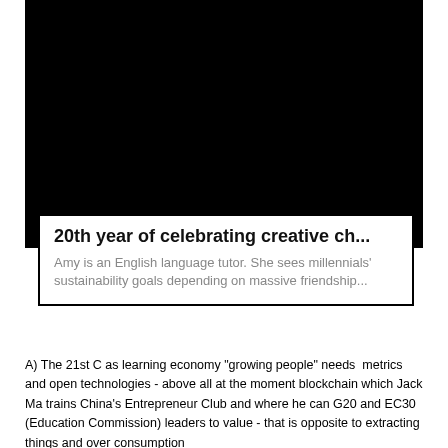[Figure (photo): Black image area at the top of the page]
20th year of celebrating creative ch...
Amy is an English language tutor. She sees millennials' sustainability goals depending on massive friendship...
A) The 21st C as learning economy "growing people" needs  metrics and open technologies - above all at the moment blockchain which Jack Ma trains China's Entrepreneur Club and where he can G20 and EC30 (Education Commission) leaders to value - that is opposite to extracting things and over consumption
[Figure (photo): Black image area at the bottom of the page]